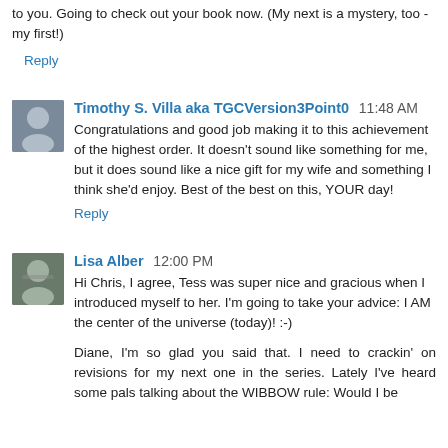to you. Going to check out your book now. (My next is a mystery, too - my first!)
Reply
Timothy S. Villa aka TGCVersion3Point0  11:48 AM
Congratulations and good job making it to this achievement of the highest order. It doesn't sound like something for me, but it does sound like a nice gift for my wife and something I think she'd enjoy. Best of the best on this, YOUR day!
Reply
Lisa Alber  12:00 PM
Hi Chris, I agree, Tess was super nice and gracious when I introduced myself to her. I'm going to take your advice: I AM the center of the universe (today)! :-)
Diane, I'm so glad you said that. I need to crackin' on revisions for my next one in the series. Lately I've heard some pals talking about the WIBBOW rule: Would I be